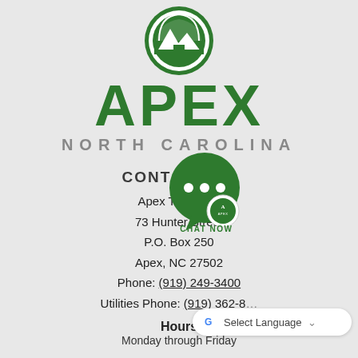[Figure (logo): Town of Apex North Carolina circular green logo with stylized landscape/mountain design]
APEX
NORTH CAROLINA
CONTACT US
Apex Town Hall
73 Hunter Street
P.O. Box 250
Apex, NC 27502
Phone: (919) 249-3400
Utilities Phone: (919) 362-8...
[Figure (illustration): Green chat bubble with Apex logo and CHAT NOW text]
[Figure (illustration): Google Select Language dropdown widget]
Hours
Monday through Friday